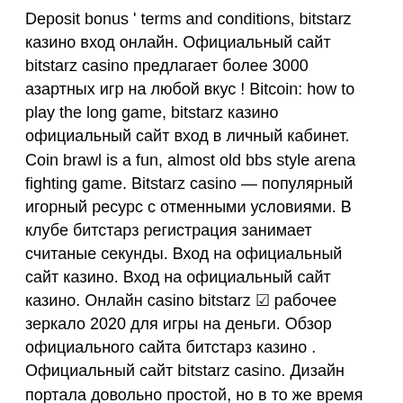Deposit bonus ' terms and conditions, bitstarz казино вход онлайн. Официальный сайт bitstarz casino предлагает более 3000 азартных игр на любой вкус ! Bitcoin: how to play the long game, bitstarz казино официальный сайт вход в личный кабинет. Coin brawl is a fun, almost old bbs style arena fighting game. Bitstarz casino — популярный игорный ресурс с отменными условиями. В клубе битстарз регистрация занимает считаные секунды. Вход на официальный сайт казино. Вход на официальный сайт казино. Онлайн casino bitstarz ☑ рабочее зеркало 2020 для игры на деньги. Обзор официального сайта битстарз казино . Официальный сайт bitstarz casino. Дизайн портала довольно простой, но в то же время яркий и эффектный. Яркие логотипы игр, впечатляющие баннеры. Also, in relation to the first deposit the